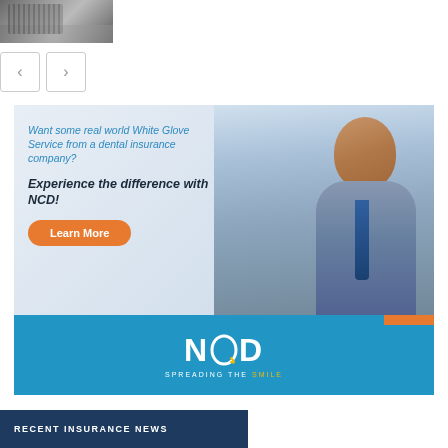[Figure (photo): Small thumbnail image of a calculator and financial documents on a desk]
[Figure (other): Navigation arrows: left and right chevron buttons]
[Figure (illustration): NCD dental insurance advertisement banner. Text: 'Want some real world White Glove Service from a dental insurance company? Experience the difference with NCD!' with a 'Learn More' button, photo of a smiling professional man in a suit, and NCD logo with tagline 'SPREADING THE SMILE']
RECENT INSURANCE NEWS